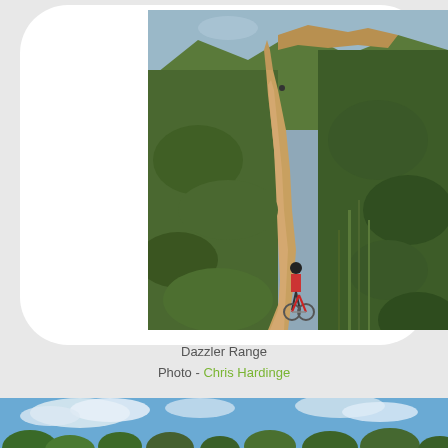[Figure (photo): A mountain biker on a steep dirt trail ascending through dense green bushland on a hillside called Dazzler Range. The trail winds up the hill through scrub vegetation. The sky is visible at the top of the hill with some exposed sandy/rocky soil. The photo is displayed inside a white rounded-corner card on a light grey background.]
Dazzler Range
Photo - Chris Hardinge
[Figure (photo): Partial view of a second photo at the bottom of the page showing a blue sky with white clouds and the tops of green trees, cropped at the page edge.]